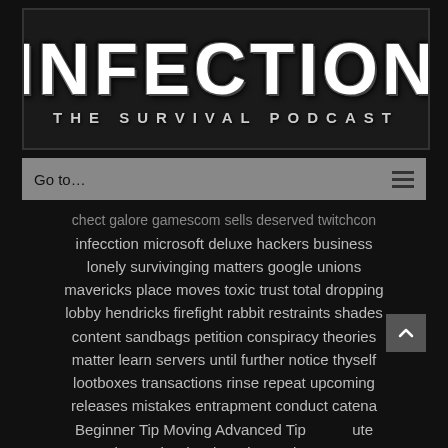[Figure (logo): Infection: The Survival Podcast logo — large distressed white text 'INFECTION' on dark background with subtitle 'THE SURVIVAL PODCAST']
Go to...
chect galore gamescom sells deserved twitchcon infecction microsoft deluxe hackers business lonely survivinging matters google unions mavericks place moves toxic trust total dropping lobby hendricks firefight rabbit restraints shades content sandbags petition conspiracy theories matter learn servers until further notice thyself lootboxes transactions rinse repeat upcoming releases mistakes entrapment conduct catena Beginner Tip Moving Advanced Tip Acute Beginner Tip Shred Beginner Tip Moving Beginner Tip Starting Advanced Tip Viewing Beginner Tip Going Halloween Update Advanced